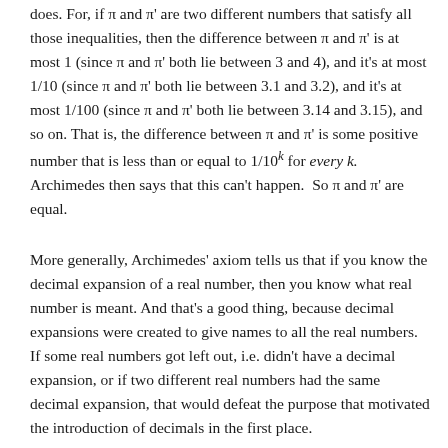does. For, if π and π' are two different numbers that satisfy all those inequalities, then the difference between π and π' is at most 1 (since π and π' both lie between 3 and 4), and it's at most 1/10 (since π and π' both lie between 3.1 and 3.2), and it's at most 1/100 (since π and π' both lie between 3.14 and 3.15), and so on. That is, the difference between π and π' is some positive number that is less than or equal to 1/10^k for every k. Archimedes then says that this can't happen. So π and π' are equal.
More generally, Archimedes' axiom tells us that if you know the decimal expansion of a real number, then you know what real number is meant. And that's a good thing, because decimal expansions were created to give names to all the real numbers. If some real numbers got left out, i.e. didn't have a decimal expansion, or if two different real numbers had the same decimal expansion, that would defeat the purpose that motivated the introduction of decimals in the first place. (See End Note #1 for more on the relationship...